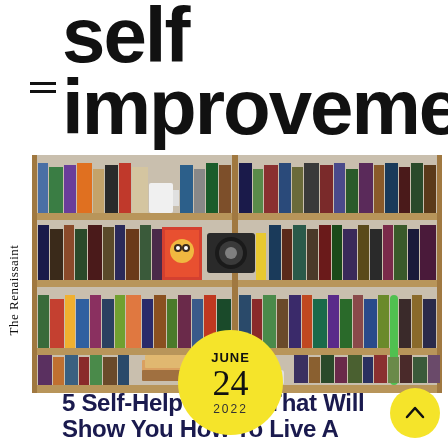self improvement
[Figure (photo): Wooden bookshelf filled with many books of various colors and sizes, with a small television and decorative items visible]
JUNE 24 2022
5 Self-Help Books That Will Show You How To Live A